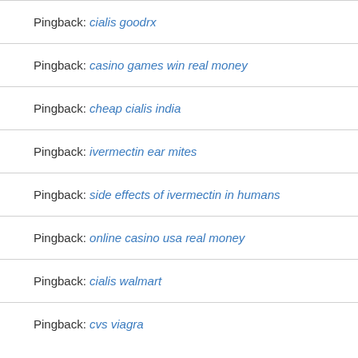Pingback: cialis goodrx
Pingback: casino games win real money
Pingback: cheap cialis india
Pingback: ivermectin ear mites
Pingback: side effects of ivermectin in humans
Pingback: online casino usa real money
Pingback: cialis walmart
Pingback: cvs viagra